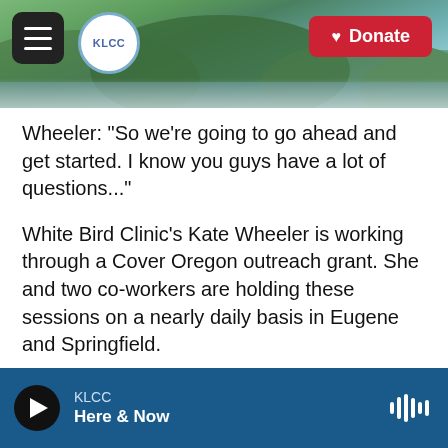[Figure (screenshot): KLCC radio website header with landscape photo of hills and river, hamburger menu button, KLCC circular logo, and red Donate button]
Wheeler: “So we’re going to go ahead and get started.  I know you guys have a lot of questions...”
White Bird Clinic’s Kate Wheeler is working through a Cover Oregon outreach grant.  She and two co-workers are holding these sessions on a nearly daily basis in Eugene and Springfield.
Not three minutes into her presentation though, Wheeler has to make a big caveat: the online system isn’t fully functional.
Wheeler: “I don’t have a definite date for you.  I know a bunch of people are going to want to know...
KLCC  Here & Now